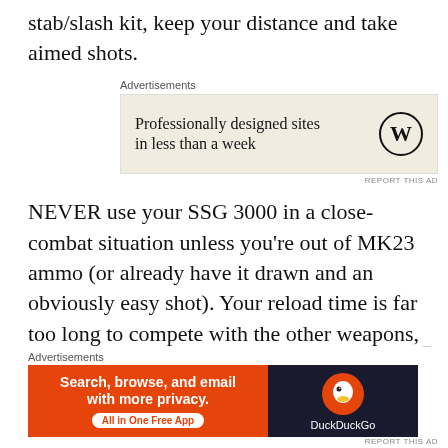stab/slash kit, keep your distance and take aimed shots.
[Figure (other): WordPress advertisement: 'Professionally designed sites in less than a week' with WordPress logo on beige background]
NEVER use your SSG 3000 in a close-combat situation unless you're out of MK23 ammo (or already have it drawn and an obviously easy shot). Your reload time is far too long to compete with the other weapons, and you can shoot just as accurately with the MK23. The choice of using your MK23 or Nikita pistol (if you have them) if a
[Figure (other): DuckDuckGo advertisement: 'Search, browse, and email with more privacy. All in One Free App' with DuckDuckGo logo on dark background]